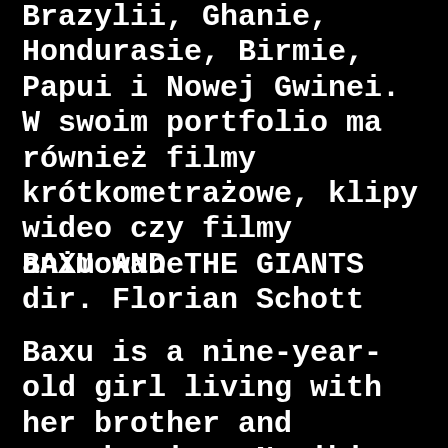Brazylii, Ghanie, Hondurasie, Birmie, Papui i Nowej Gwinei. W swoim portfolio ma również filmy krótkometrażowe, klipy wideo czy filmy animowane.
BAXU AND THE GIANTS dir. Florian Schott
Baxu is a nine-year-old girl living with her brother and grandma in a Namibian village. Even though their life is modest and they have their problems, their care and love for each other give them